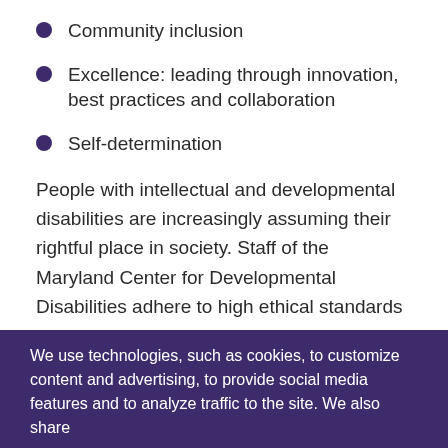Community inclusion
Excellence: leading through innovation, best practices and collaboration
Self-determination
People with intellectual and developmental disabilities are increasingly assuming their rightful place in society. Staff of the Maryland Center for Developmental Disabilities adhere to high ethical standards of professional practice and respect and support the legal and human rights of people with intellectual and developmental disabilities and their
We use technologies, such as cookies, to customize content and advertising, to provide social media features and to analyze traffic to the site. We also share